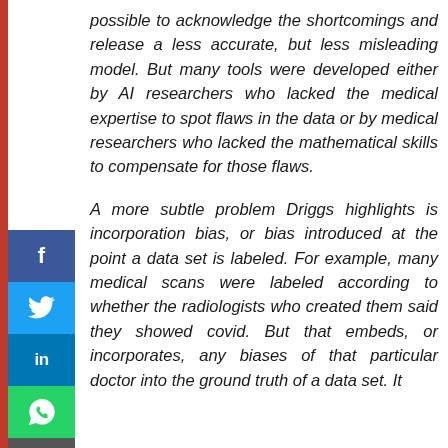[Figure (infographic): Vertical social media share sidebar with Facebook, Twitter, LinkedIn, WhatsApp, and Email buttons on a red-bordered left sidebar]
possible to acknowledge the shortcomings and release a less accurate, but less misleading model. But many tools were developed either by AI researchers who lacked the medical expertise to spot flaws in the data or by medical researchers who lacked the mathematical skills to compensate for those flaws.

A more subtle problem Driggs highlights is incorporation bias, or bias introduced at the point a data set is labeled. For example, many medical scans were labeled according to whether the radiologists who created them said they showed covid. But that embeds, or incorporates, any biases of that particular doctor into the ground truth of a data set. It